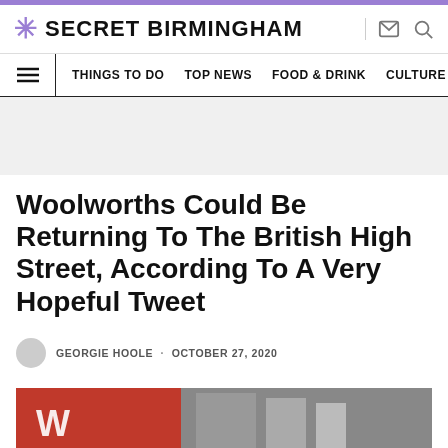SECRET BIRMINGHAM
THINGS TO DO · TOP NEWS · FOOD & DRINK · CULTURE
Woolworths Could Be Returning To The British High Street, According To A Very Hopeful Tweet
GEORGIE HOOLE · OCTOBER 27, 2020
[Figure (photo): Exterior photo of a Woolworths store with red signage]